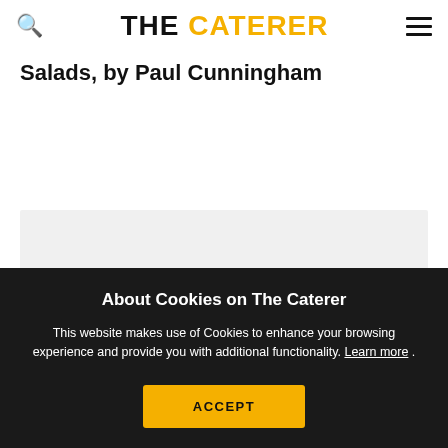THE CATERER
Salads, by Paul Cunningham
About Cookies on The Caterer
This website makes use of Cookies to enhance your browsing experience and provide you with additional functionality. Learn more .
ACCEPT